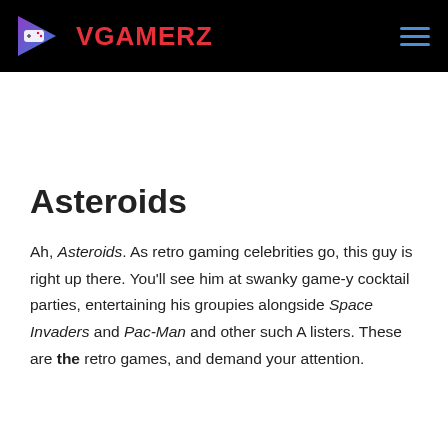VGAMERZ
Asteroids
Ah, Asteroids. As retro gaming celebrities go, this guy is right up there. You'll see him at swanky game-y cocktail parties, entertaining his groupies alongside Space Invaders and Pac-Man and other such A listers. These are the retro games, and demand your attention.